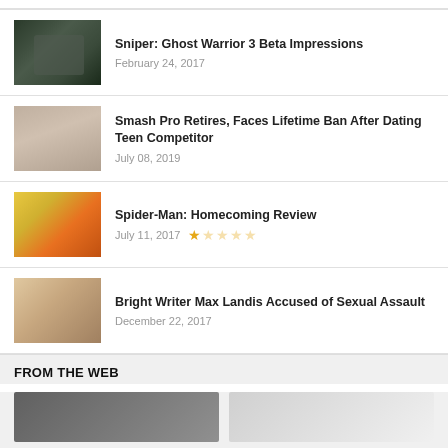Sniper: Ghost Warrior 3 Beta Impressions
February 24, 2017
Smash Pro Retires, Faces Lifetime Ban After Dating Teen Competitor
July 08, 2019
Spider-Man: Homecoming Review
July 11, 2017  ★☆☆☆☆
Bright Writer Max Landis Accused of Sexual Assault
December 22, 2017
FROM THE WEB